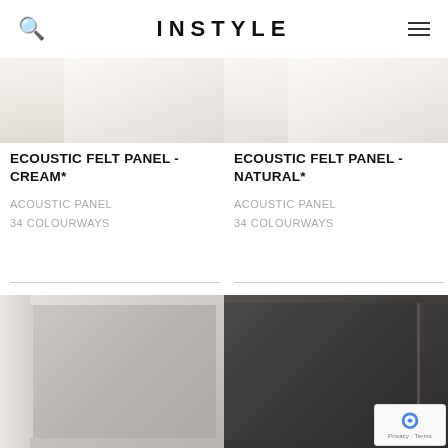INSTYLE
[Figure (photo): Ecoustic Felt Panel Cream product photo - light cream textured acoustic panel]
ECOUSTIC FELT PANEL - CREAM*
ACOUSTIC PANEL
34 COLOURWAYS
[Figure (photo): Ecoustic Felt Panel Natural product photo - natural off-white textured acoustic panel]
ECOUSTIC FELT PANEL - NATURAL*
ACOUSTIC PANEL
34 COLOURWAYS
[Figure (photo): Grey acoustic panel product photo - medium grey felt panel]
[Figure (photo): Dark acoustic panel product photo - dark charcoal felt panel]